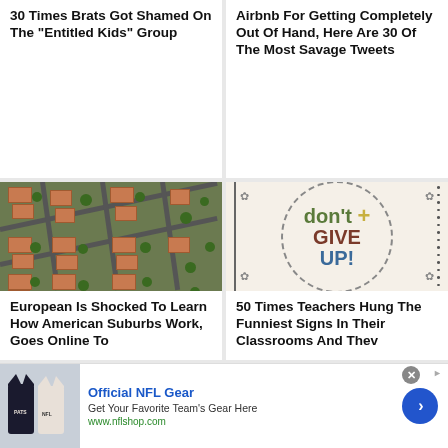30 Times Brats Got Shamed On The "Entitled Kids" Group
Airbnb For Getting Completely Out Of Hand, Here Are 30 Of The Most Savage Tweets
[Figure (photo): Aerial view of American suburban neighborhood with red-roofed houses, green trees, and road network]
[Figure (photo): Motivational sign reading 'don't GIVE UP!' with dotted circle border and flower decorations]
European Is Shocked To Learn How American Suburbs Work, Goes Online To
50 Times Teachers Hung The Funniest Signs In Their Classrooms And Thev
[Figure (screenshot): Advertisement for Official NFL Gear showing NFL jerseys and logo with link to nflshop.com]
Official NFL Gear - Get Your Favorite Team's Gear Here - www.nflshop.com